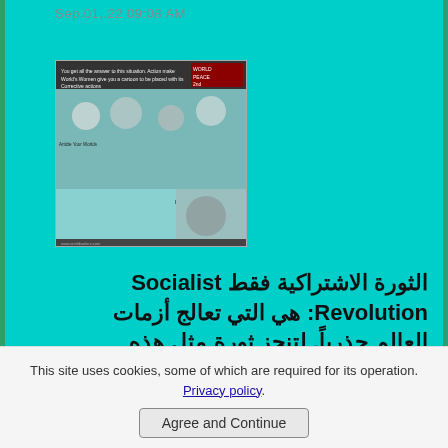Sep.01,.22 09:08 AM
[Figure (screenshot): A collage/screenshot image with Arabic and English text, showing a social media or news article thumbnail with multiple people's portraits and text overlays.]
الثورة الاشتراكية فقط Socialist Revolution: هي التي تعالج أزمات العالم جذرياً. لتنجز ثورة مثل هذه لخلاصك وخلاص العالم تحتاج الي دروس الديناميات العالمية
Read More
تفاقم أزمات العالم بعد After Cold War
This site uses cookies, some of which are required for its operation. Privacy policy.
Agree and Continue